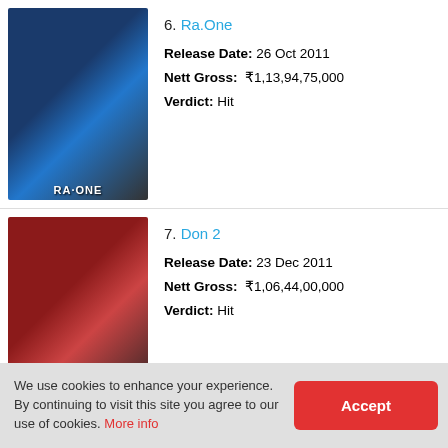[Figure (photo): Ra.One movie poster - sci-fi action film]
6. Ra.One
Release Date: 26 Oct 2011
Nett Gross: ₹1,13,94,75,000
Verdict: Hit
[Figure (photo): Don 2 movie poster - action thriller film]
7. Don 2
Release Date: 23 Dec 2011
Nett Gross: ₹1,06,44,00,000
Verdict: Hit
[Figure (photo): Zindagi Na Milegi Dobara movie poster]
8. Zindagi Na Milegi Dobara
Release Date: 15 Jul 2011
Nett Gross: ₹89,96,00,000
Verdict: Hit
[Figure (photo): Mere Brother Ki Dulhan movie poster]
9. Mere Brother Ki Dulhan
Release Date: 9 Sep 2011
We use cookies to enhance your experience. By continuing to visit this site you agree to our use of cookies. More info